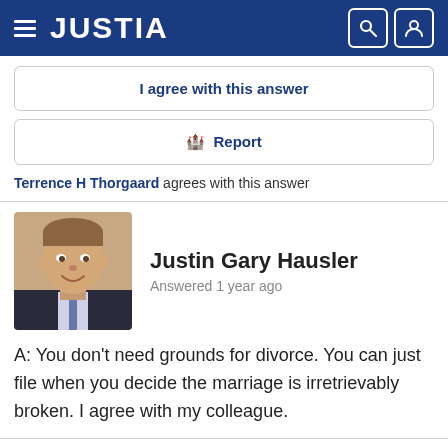JUSTIA
I agree with this answer
🏴 Report
Terrence H Thorgaard agrees with this answer
[Figure (photo): Headshot of Justin Gary Hausler, a young man in a suit, smiling, with short brown hair, against a beige background.]
Justin Gary Hausler
Answered 1 year ago
A: You don't need grounds for divorce. You can just file when you decide the marriage is irretrievably broken. I agree with my colleague.